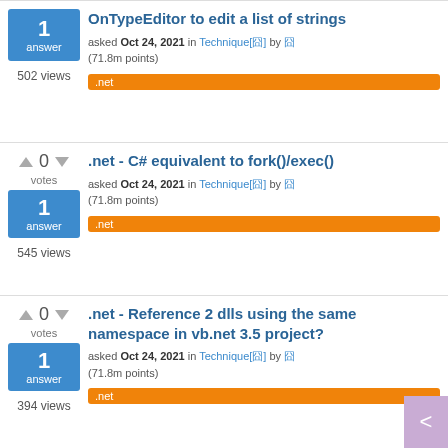OnTypeEditor to edit a list of strings
asked Oct 24, 2021 in Technique by (71.8m points)
1 answer, 502 views, .net tag
.net - C# equivalent to fork()/exec()
asked Oct 24, 2021 in Technique by (71.8m points)
0 votes, 1 answer, 545 views, .net tag
.net - Reference 2 dlls using the same namespace in vb.net 3.5 project?
asked Oct 24, 2021 in Technique by (71.8m points)
0 votes, 1 answer, 394 views, .net tag